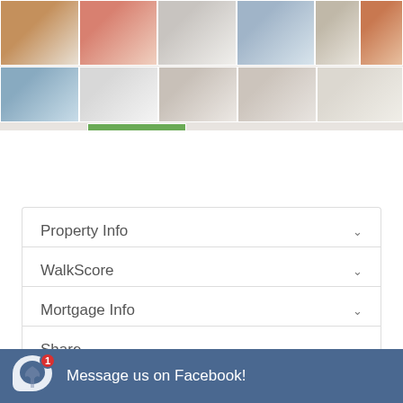[Figure (photo): Grid of interior home photos showing rooms, hallways, kitchen, and one exterior backyard photo]
Property Info
WalkScore
Mortgage Info
Share
Show Map
Tour This Property:
First Name
Message us on Facebook!